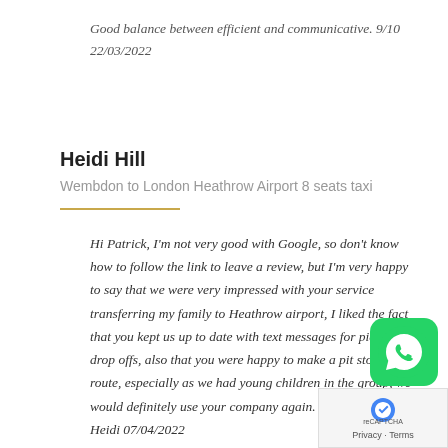Good balance between efficient and communicative. 9/10
22/03/2022
Heidi Hill
Wembdon to London Heathrow Airport 8 seats taxi
Hi Patrick, I'm not very good with Google, so don't know how to follow the link to leave a review, but I'm very happy to say that we were very impressed with your service transferring my family to Heathrow airport, I liked the fact that you kept us up to date with text messages for pick up drop offs, also that you were happy to make a pit stop on route, especially as we had young children in the group, we would definitely use your company again. Many thanks Heidi 07/04/2022
[Figure (logo): WhatsApp icon - green rounded square with white phone handset logo]
[Figure (logo): reCAPTCHA logo with Privacy - Terms text below]